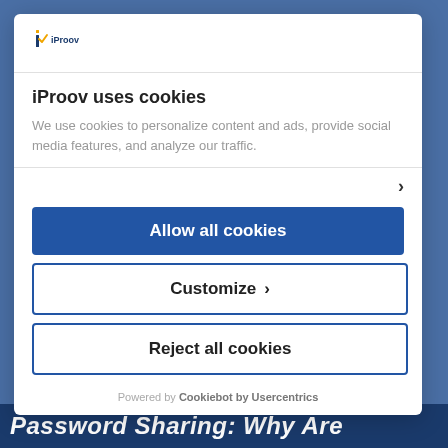[Figure (logo): iProov logo — stylized 'i' with orange/yellow mark and blue text]
iProov uses cookies
We use cookies to personalize content and ads, provide social media features, and analyze our traffic.
Allow all cookies
Customize ›
Reject all cookies
Powered by Cookiebot by Usercentrics
Password Sharing: Why Are